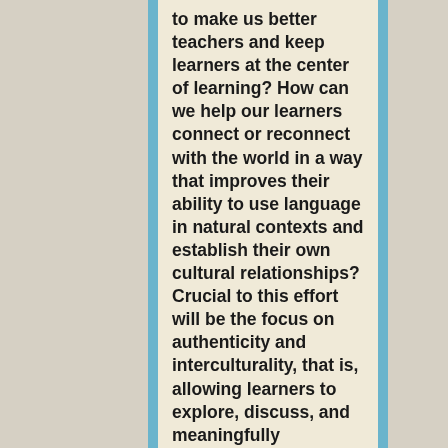to make us better teachers and keep learners at the center of learning? How can we help our learners connect or reconnect with the world in a way that improves their ability to use language in natural contexts and establish their own cultural relationships? Crucial to this effort will be the focus on authenticity and interculturality, that is, allowing learners to explore, discuss, and meaningfully construct language and relationships in contexts that involve real-world problems and projects that are